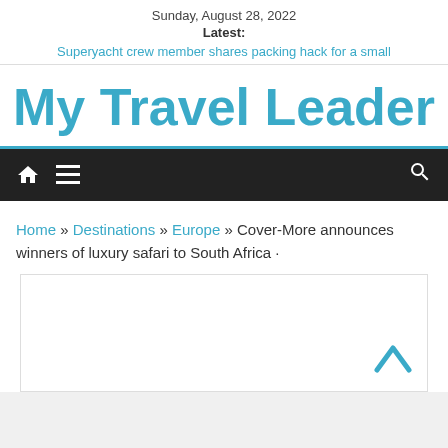Sunday, August 28, 2022
Latest:
Superyacht crew member shares packing hack for a small
My Travel Leader
[Figure (screenshot): Black navigation bar with home icon, hamburger menu icon, and search icon]
Home » Destinations » Europe » Cover-More announces winners of luxury safari to South Africa ·
[Figure (other): Empty white content box with a blue upward chevron arrow in the bottom right corner]